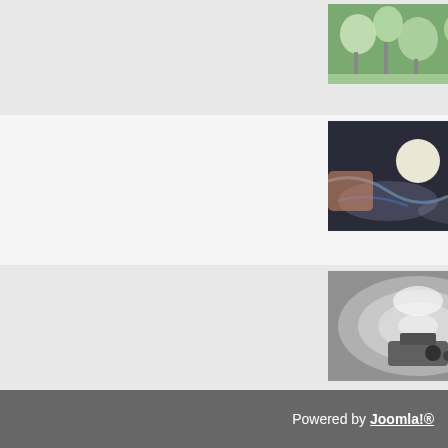[Figure (photo): Oxygen Curtain installation photo - green plants/lights]
Oxygen Curtain
(Responsive Architecture / Daniels)
[Figure (photo): Perceptual Ecologies installation - dark room with lights and smoke]
Perceptual Ecologies
Several Authors (Electrotecture Lab)
[Figure (photo): Perdita Phillips Web - underwater/mechanical device photo]
Perdita Phillips Web
Perdita P
Start Prev 1 2 3 4 Next End
Powered by Joomla!®